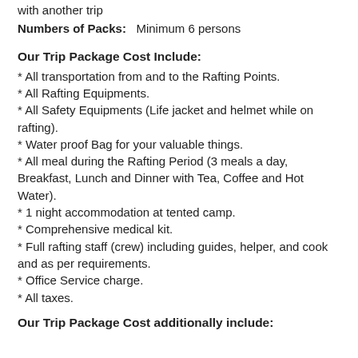Positive Trip: Return to Phaltimate, or combine with another trip
Numbers of Packs:   Minimum 6 persons
Our Trip Package Cost Include:
* All transportation from and to the Rafting Points.
* All Rafting Equipments.
* All Safety Equipments (Life jacket and helmet while on rafting).
* Water proof Bag for your valuable things.
* All meal during the Rafting Period (3 meals a day, Breakfast, Lunch and Dinner with Tea, Coffee and Hot Water).
* 1 night accommodation at tented camp.
* Comprehensive medical kit.
* Full rafting staff (crew) including guides, helper, and cook and as per requirements.
* Office Service charge.
* All taxes.
Our Trip Package Cost additionally include: